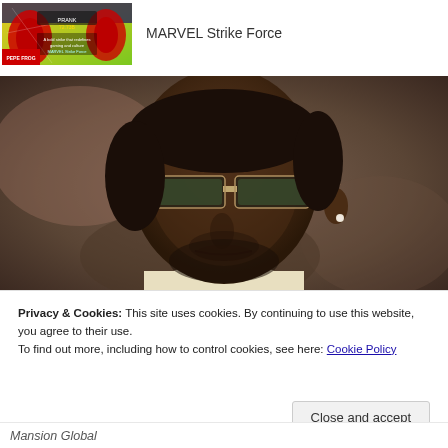[Figure (screenshot): MARVEL Strike Force game thumbnail showing Spider-Man promotional art with text 'PRANK 72.73B']
MARVEL Strike Force
[Figure (photo): Close-up portrait photo of a Black man wearing semi-rimless sunglasses and a white shirt/jacket, with a pearl stud earring, against a blurred background]
Privacy & Cookies: This site uses cookies. By continuing to use this website, you agree to their use.
To find out more, including how to control cookies, see here: Cookie Policy
Close and accept
Mansion Global